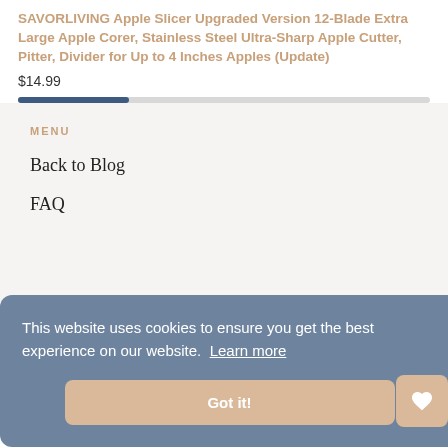SAVORLIVING Apple Slicer Upgraded Version 12-Blade Extra Large Apple Corer, Stainless Steel Ultra-Sharp Apple Cutter, Pitter, Divider for Up to 4 Inches Apples (Update)
$14.99
MENU
Back to Blog
FAQ
This website uses cookies to ensure you get the best experience on our website. Learn more
Got it!